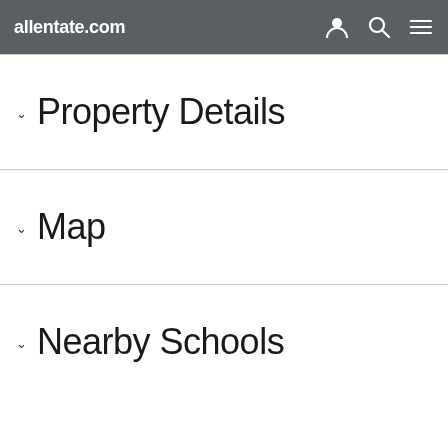allentate.com
Property Details
Map
Nearby Schools